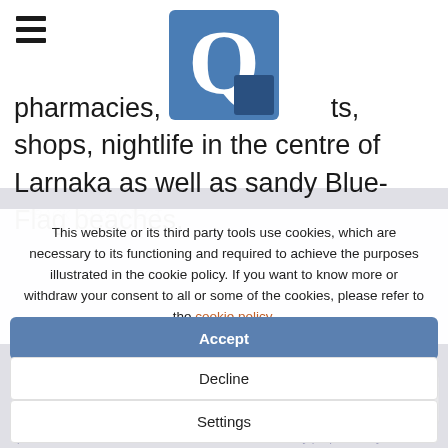[Figure (logo): Hamburger menu icon (three horizontal lines) at top left]
[Figure (logo): Quality Group logo: blue square with white Q letter]
pharmacies, banks ts, shops, nightlife in the centre of Larnaka as well as sandy Blue-Flag beaches.
*BACK TO PROJECT
This website or its third party tools use cookies, which are necessary to its functioning and required to achieve the purposes illustrated in the cookie policy. If you want to know more or withdraw your consent to all or some of the cookies, please refer to the cookie policy.
Accept
Decline
Settings
*DISCLAIMER: The information contained in this website is for general information purposes only. Whilst the Quality Group endeavours to keep the information up to date and correct, we make no representations or warranties of any kind, express or implied, about the completeness, accuracy, reliability, suitableness availability with respect to the website or the information, products, services, or related contained on the w for any purpose. Any reliance you place on such informatio